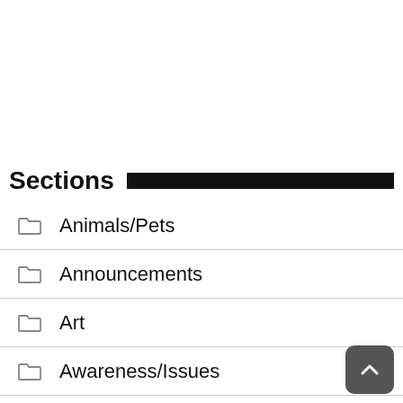Sections
Animals/Pets
Announcements
Art
Awareness/Issues
Business/Start-ups
Charity/Fundraising
Education